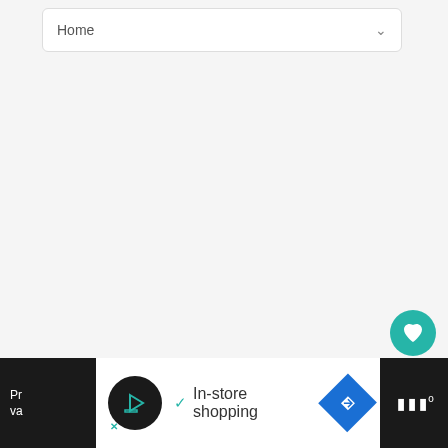[Figure (screenshot): Dropdown menu bar showing 'Home' with a chevron arrow on the right, on a white rounded rectangle background]
[Figure (screenshot): Large light grey empty content area (main content region of a web app)]
[Figure (screenshot): Circular teal heart/like button (favorite action button)]
1
[Figure (screenshot): Circular white share/add button with share icon]
[Figure (screenshot): What's Next card with thumbnail image of blue flowers and text 'WHAT'S NEXT → Plant care for Nemophila,...']
[Figure (screenshot): Bottom advertisement bar with black sections on left and right, white center section showing an ad with logo circle, checkmark, 'In-store shopping' text, and navigation diamond icon]